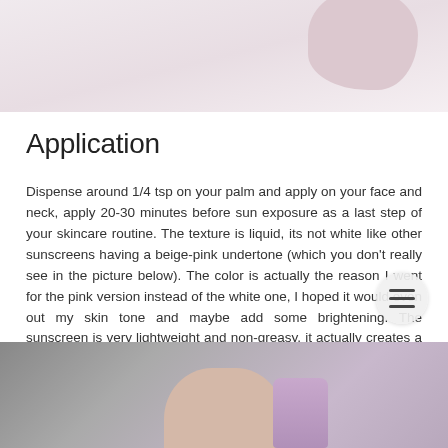[Figure (photo): Top portion of product photo showing a pink/beige skincare product against a light background]
Application
Dispense around 1/4 tsp on your palm and apply on your face and neck, apply 20-30 minutes before sun exposure as a last step of your skincare routine. The texture is liquid, its not white like other sunscreens having a beige-pink undertone (which you don't really see in the picture below). The color is actually the reason I went for the pink version instead of the white one, I hoped it would even out my skin tone and maybe add some brightening. The sunscreen is very lightweight and non-greasy, it actually creates a somewhat matte look, which is what I need on a hot day in the sun.
[Figure (photo): Bottom portion showing a hand holding a purple/pink skincare product against a grey background]